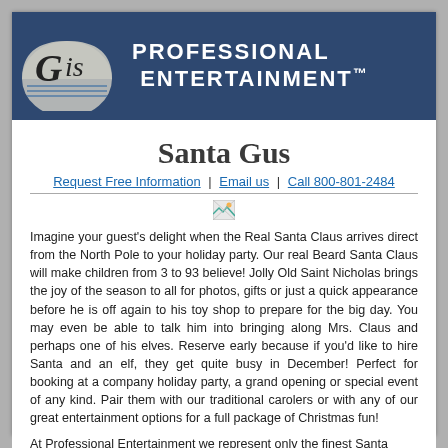[Figure (logo): Gis Professional Entertainment logo with stylized script text on a semicircle background]
Professional Entertainment™
Santa Gus
Request Free Information  |  Email us  |  Call 800-801-2484
[Figure (photo): Broken/missing image placeholder]
Imagine your guest's delight when the Real Santa Claus arrives direct from the North Pole to your holiday party. Our real Beard Santa Claus will make children from 3 to 93 believe! Jolly Old Saint Nicholas brings the joy of the season to all for photos, gifts or just a quick appearance before he is off again to his toy shop to prepare for the big day. You may even be able to talk him into bringing along Mrs. Claus and perhaps one of his elves. Reserve early because if you'd like to hire Santa and an elf, they get quite busy in December! Perfect for booking at a company holiday party, a grand opening or special event of any kind. Pair them with our traditional carolers or with any of our great entertainment options for a full package of Christmas fun!
At Professional Entertainment we represent only the finest Santa